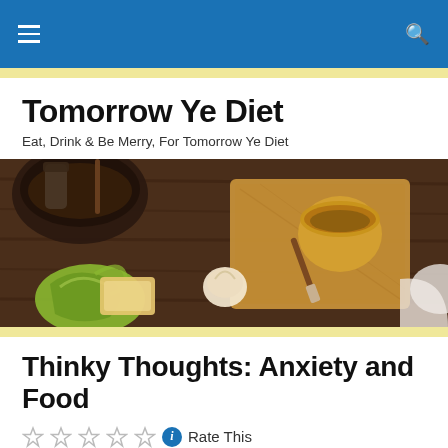Navigation bar with hamburger menu and search icon
Tomorrow Ye Diet
Eat, Drink & Be Merry, For Tomorrow Ye Diet
[Figure (photo): Overhead shot of food items on a wooden table: peeled apple slices, garlic, a wooden cutting board with a brush, a cup of tea, and dark bowls with liquids]
Thinky Thoughts: Anxiety and Food
Rate This